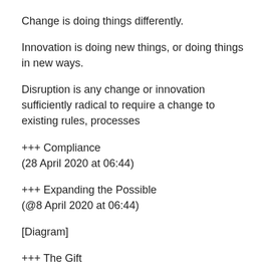Change is doing things differently.
Innovation is doing new things, or doing things in new ways.
Disruption is any change or innovation sufficiently radical to require a change to existing rules, processes
+++ Compliance
(28 April 2020 at 06:44)
+++ Expanding the Possible
(@8 April 2020 at 06:44)
[Diagram]
+++ The Gift
(18 March 2020 at 06:34)